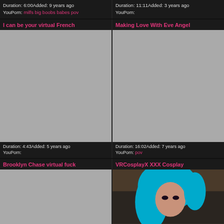Duration: 6:00Added: 9 years ago
YouPorn: milfs big boobs babes pov
Duration: 11:11Added: 3 years ago
YouPorn:
I can be your virtual French
[Figure (photo): Gray placeholder thumbnail]
Duration: 4:43Added: 5 years ago
YouPorn:
Making Love With Eve Angel
[Figure (photo): Gray placeholder thumbnail]
Duration: 16:02Added: 7 years ago
YouPorn: pov
Brooklyn Chase virtual fuck
[Figure (photo): Gray placeholder thumbnail]
VRCosplayX XXX Cosplay
[Figure (photo): Photo of woman with blue hair]